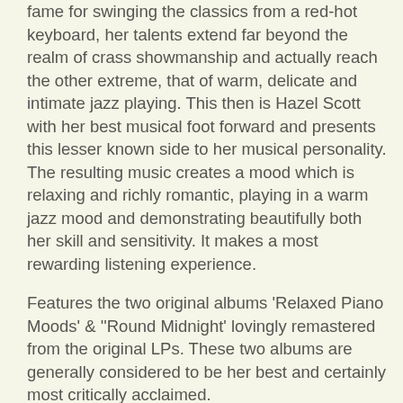fame for swinging the classics from a red-hot keyboard, her talents extend far beyond the realm of crass showmanship and actually reach the other extreme, that of warm, delicate and intimate jazz playing. This then is Hazel Scott with her best musical foot forward and presents this lesser known side to her musical personality. The resulting music creates a mood which is relaxing and richly romantic, playing in a warm jazz mood and demonstrating beautifully both her skill and sensitivity. It makes a most rewarding listening experience.
Features the two original albums 'Relaxed Piano Moods' & ''Round Midnight' lovingly remastered from the original LPs. These two albums are generally considered to be her best and certainly most critically acclaimed.
At the time of release this is the first time that these two albums have appeared on one collection.
Fully detailed liner notes.